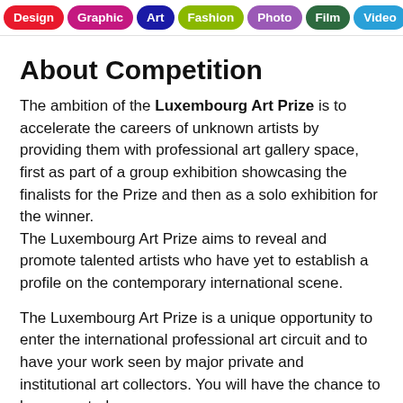Design | Graphic | Art | Fashion | Photo | Film | Video | Music
About Competition
The ambition of the Luxembourg Art Prize is to accelerate the careers of unknown artists by providing them with professional art gallery space, first as part of a group exhibition showcasing the finalists for the Prize and then as a solo exhibition for the winner. The Luxembourg Art Prize aims to reveal and promote talented artists who have yet to establish a profile on the contemporary international scene.
The Luxembourg Art Prize is a unique opportunity to enter the international professional art circuit and to have your work seen by major private and institutional art collectors. You will have the chance to be supported